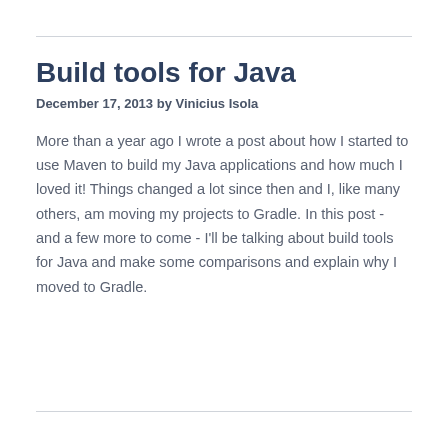Build tools for Java
December 17, 2013 by Vinicius Isola
More than a year ago I wrote a post about how I started to use Maven to build my Java applications and how much I loved it! Things changed a lot since then and I, like many others, am moving my projects to Gradle. In this post - and a few more to come - I'll be talking about build tools for Java and make some comparisons and explain why I moved to Gradle.